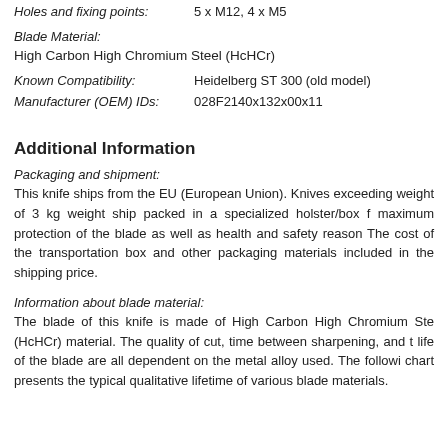Holes and fixing points: 5 x M12, 4 x M5
Blade Material:
High Carbon High Chromium Steel (HcHCr)
Known Compatibility: Heidelberg ST 300 (old model)
Manufacturer (OEM) IDs: 028F2140x132x00x11
Additional Information
Packaging and shipment:
This knife ships from the EU (European Union). Knives exceeding weight of 3 kg weight ship packed in a specialized holster/box for maximum protection of the blade as well as health and safety reasons. The cost of the transportation box and other packaging materials is included in the shipping price.
Information about blade material:
The blade of this knife is made of High Carbon High Chromium Steel (HcHCr) material. The quality of cut, time between sharpening, and the life of the blade are all dependent on the metal alloy used. The following chart presents the typical qualitative lifetime of various blade materials.